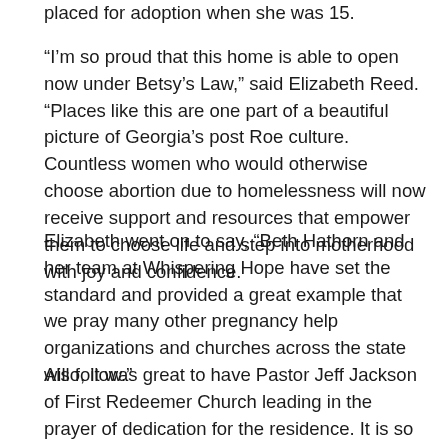placed for adoption when she was 15.
“I’m so proud that this home is able to open now under Betsy’s Law,” said Elizabeth Reed. “Places like this are one part of a beautiful picture of Georgia’s post Roe culture. Countless women who would otherwise choose abortion due to homelessness will now receive support and resources that empower them to choose life and step into motherhood with joy and confidence.
Elizabeth went on to say, “Beth Hathorn and her team at Whispering Hope have set the standard and provided a great example that we pray many other pregnancy help organizations and churches across the state will follow.”
Also, it was great to have Pastor Jeff Jackson of First Redeemer Church leading in the prayer of dedication for the residence. It is so important that pastors play a key role in promoting care and